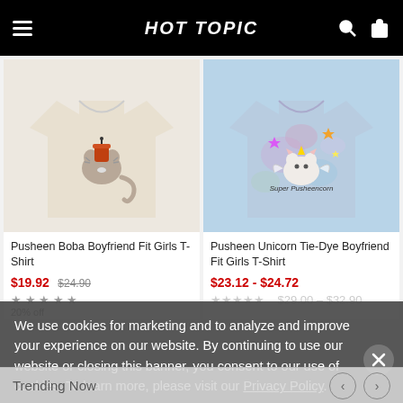HOT TOPIC
[Figure (photo): Pusheen Boba Boyfriend Fit Girls T-Shirt product image - beige/cream t-shirt with Pusheen cat holding boba drink graphic]
Pusheen Boba Boyfriend Fit Girls T-Shirt
$19.92 $24.90
[Figure (photo): Pusheen Unicorn Tie-Dye Boyfriend Fit Girls T-Shirt product image - tie-dye blue/purple t-shirt with Super Pusheencorn graphic]
Pusheen Unicorn Tie-Dye Boyfriend Fit Girls T-Shirt
$23.12 - $24.72
We use cookies for marketing and to analyze and improve your experience on our website. By continuing to use our website or closing this banner, you consent to our use of cookies. To learn more, please visit our Privacy Policy.
Trending Now